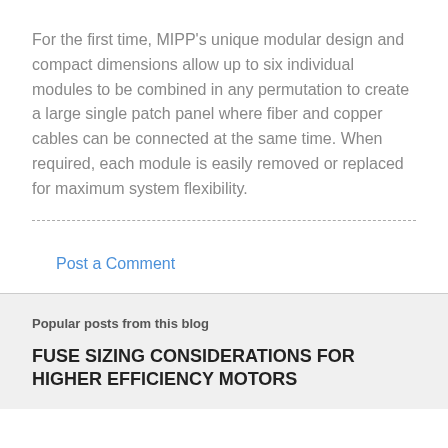For the first time, MIPP's unique modular design and compact dimensions allow up to six individual modules to be combined in any permutation to create a large single patch panel where fiber and copper cables can be connected at the same time. When required, each module is easily removed or replaced for maximum system flexibility.
Post a Comment
Popular posts from this blog
FUSE SIZING CONSIDERATIONS FOR HIGHER EFFICIENCY MOTORS